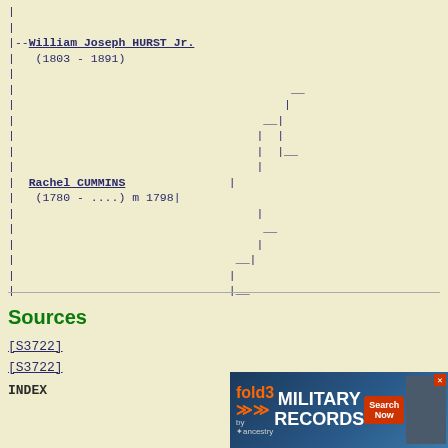[Figure (other): Genealogy pedigree chart (text/ASCII tree) showing William Joseph HURST Jr. (1803-1891) and Rachel CUMMINS (1780-....) m 1798 with bracket lines indicating ancestor connections]
Sources
[S3722]
[S3722]
INDEX
[Figure (other): Advertisement banner for fold3 Military Records by Ancestry with Search Now button]